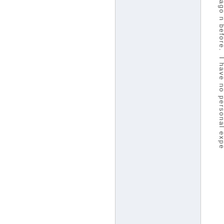ago n before. I have no personal expe